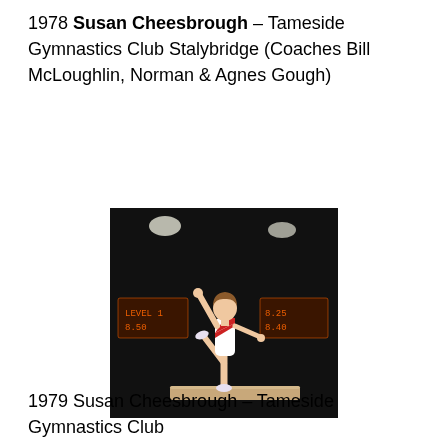1978 Susan Cheesbrough – Tameside Gymnastics Club Stalybridge (Coaches Bill McLoughlin, Norman & Agnes Gough)
[Figure (photo): Gymnast Susan Cheesbrough performing on the balance beam, wearing a white and red leotard, with one leg raised and one arm up, against a dark arena background with orange scoreboard displays.]
1979 Susan Cheesbrough – Tameside Gymnastics Club